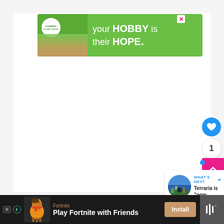[Figure (screenshot): A webpage screenshot showing a banner advertisement for Cookies for Kids' Cancer charity with green background and text 'your HOBBY is their HOPE', a large white content area, a blue circular heart/like button, a count of 1, a pink scroll-to-top button, and a 'WHAT'S NEXT' panel showing a Terraria article thumbnail]
[Figure (advertisement): Bottom app install advertisement for Fortnite game: 'Play Fortnite with Friends' with an Install button]